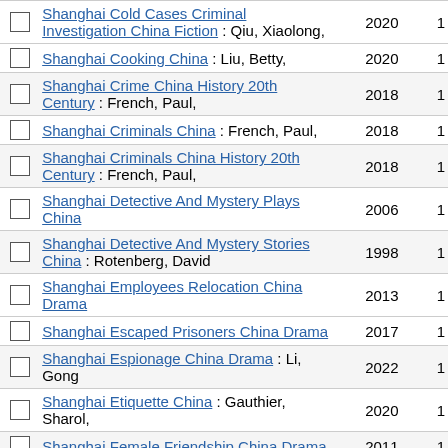|  | Title/Author | Year | Count |
| --- | --- | --- | --- |
| ☐ | Shanghai Cold Cases Criminal Investigation China Fiction : Qiu, Xiaolong, | 2020 | 1 |
| ☐ | Shanghai Cooking China : Liu, Betty, | 2020 | 1 |
| ☐ | Shanghai Crime China History 20th Century : French, Paul, | 2018 | 1 |
| ☐ | Shanghai Criminals China : French, Paul, | 2018 | 1 |
| ☐ | Shanghai Criminals China History 20th Century : French, Paul, | 2018 | 1 |
| ☐ | Shanghai Detective And Mystery Plays China | 2006 | 1 |
| ☐ | Shanghai Detective And Mystery Stories China : Rotenberg, David | 1998 | 1 |
| ☐ | Shanghai Employees Relocation China Drama | 2013 | 1 |
| ☐ | Shanghai Escaped Prisoners China Drama | 2017 | 1 |
| ☐ | Shanghai Espionage China Drama : Li, Gong | 2022 | 1 |
| ☐ | Shanghai Etiquette China : Gauthier, Sharol, | 2020 | 1 |
| ☐ | Shanghai Female Friendship China Drama | 2011 | 1 |
| ☐ | Shanghai Fraud China Drama | 2013 | 1 |
| ☐ | Shanghai Gangs China Drama | 2017 | 1 |
| ☐ | Shanghai Gangs China Fiction : Hamilton, Ian, | 2019 | 1 |